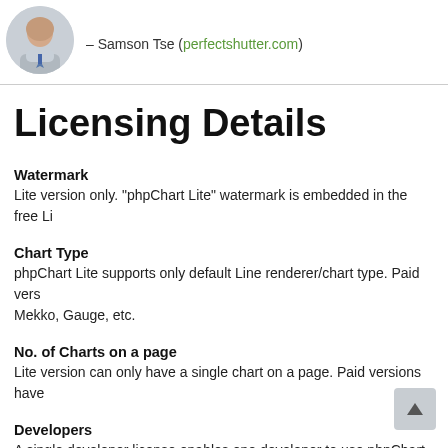– Samson Tse (perfectshutter.com)
Licensing Details
Watermark
Lite version only. "phpChart Lite" watermark is embedded in the free Li
Chart Type
phpChart Lite supports only default Line renderer/chart type. Paid vers… Mekko, Gauge, etc.
No. of Charts on a page
Lite version can only have a single chart on a page. Paid versions have
Developers
A single developer license enables one developer to use phpChart for
Sites/Hosts
The site runtime license is targeted at developers using phpChart in pr